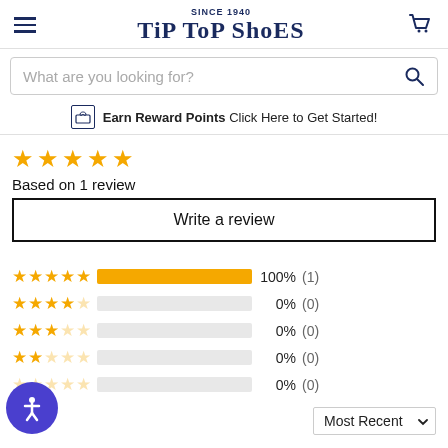SINCE 1940 TIP TOP SHOES
What are you looking for?
Earn Reward Points  Click Here to Get Started!
[Figure (other): 5-star rating display, Based on 1 review]
Based on 1 review
Write a review
[Figure (bar-chart): Rating breakdown]
Most Recent